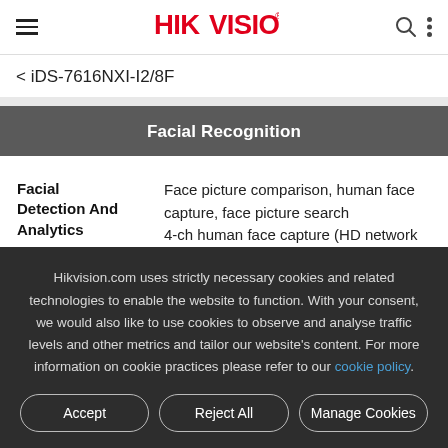HIKVISION
< iDS-7616NXI-I2/8F
Facial Recognition
| Feature | Details |
| --- | --- |
| Facial Detection And Analytics | Face picture comparison, human face capture, face picture search
4-ch human face capture (HD network |
Hikvision.com uses strictly necessary cookies and related technologies to enable the website to function. With your consent, we would also like to use cookies to observe and analyse traffic levels and other metrics and tailor our website's content. For more information on cookie practices please refer to our cookie policy.
Accept | Reject All | Manage Cookies